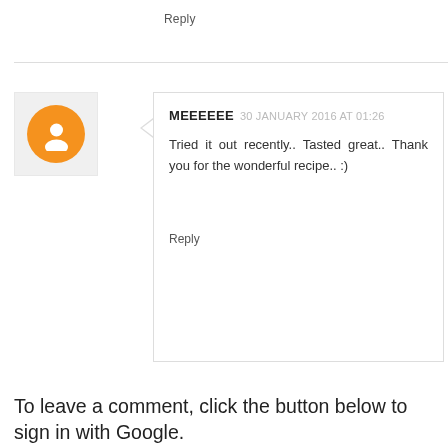Reply
MEEEEEE  30 JANUARY 2016 AT 01:26
Tried it out recently.. Tasted great.. Thank you for the wonderful recipe.. :)
Reply
To leave a comment, click the button below to sign in with Google.
[Figure (other): Blue button labeled SIGN IN WITH GOOGLE]